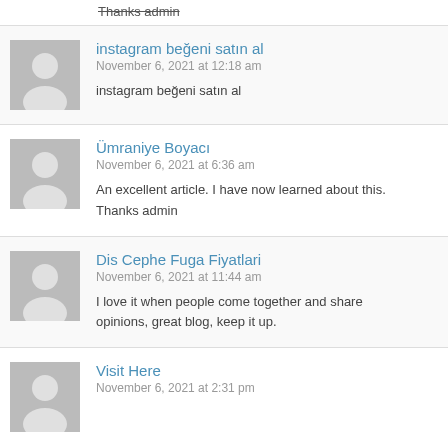Thanks admin
instagram beğeni satın al
November 6, 2021 at 12:18 am
instagram beğeni satın al
Ümraniye Boyacı
November 6, 2021 at 6:36 am
An excellent article. I have now learned about this. Thanks admin
Dis Cephe Fuga Fiyatlari
November 6, 2021 at 11:44 am
I love it when people come together and share opinions, great blog, keep it up.
Visit Here
November 6, 2021 at 2:31 pm